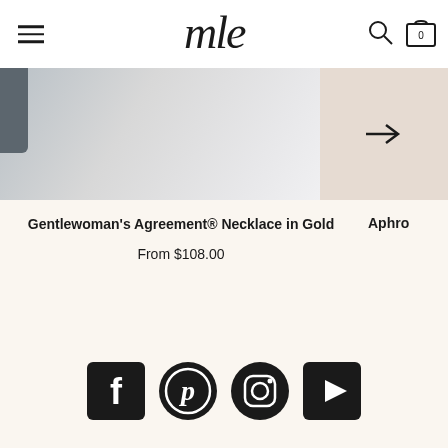mle — navigation header with hamburger menu, logo, search and cart icons
[Figure (photo): Product carousel showing a necklace product image on light grey background with a beige panel on the right containing a right arrow]
Gentlewoman's Agreement® Necklace in Gold
From $108.00
Aphro
[Figure (infographic): Social media icons row: Facebook, Pinterest, Instagram, YouTube]